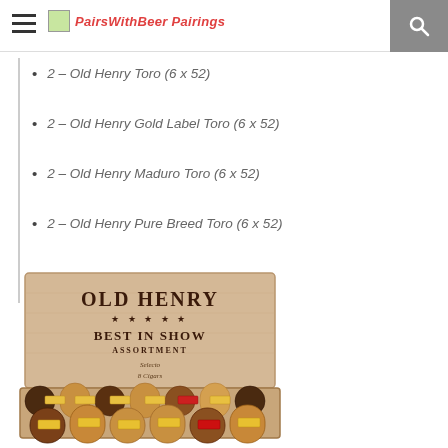PairsWithBeer Pairings
2 – Old Henry Toro (6 x 52)
2 – Old Henry Gold Label Toro (6 x 52)
2 – Old Henry Maduro Toro (6 x 52)
2 – Old Henry Pure Breed Toro (6 x 52)
[Figure (photo): A wooden cigar box labeled 'OLD HENRY BEST IN SHOW ASSORTMENT' with 8 cigars arranged inside, featuring various band colors including yellow and red.]